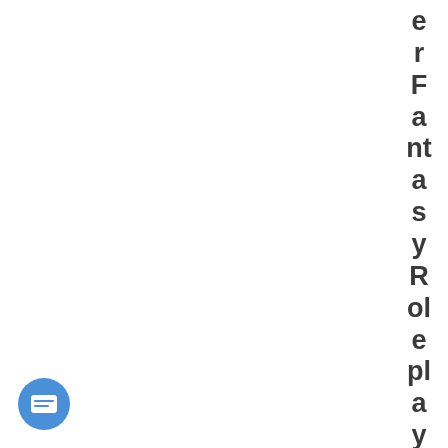erFantasy RoleplayFourt
[Figure (illustration): Blue circular chat/message button icon in the bottom-left corner]